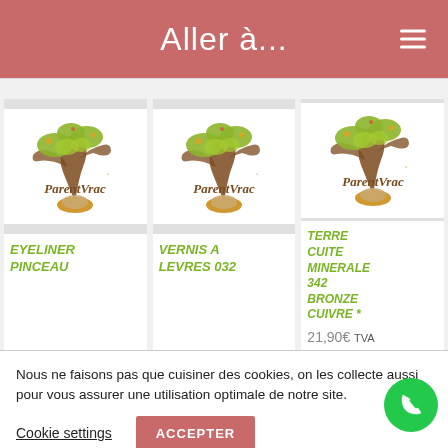Aller à...
[Figure (logo): ParentVrac logo - tree with leaves and decorative egg/nest, first product card]
EYELINER PINCEAU
[Figure (logo): ParentVrac logo - second product card]
VERNIS A LEVRES 032
[Figure (logo): ParentVrac logo - third product card]
TERRE CUITE MINERALE 342 BRONZE CUIVRE *
21,90€ TVA incluse
Nous ne faisons pas que cuisiner des cookies, on les collecte aussi pour vous assurer une utilisation optimale de notre site.
Cookie settings
ACCEPTER